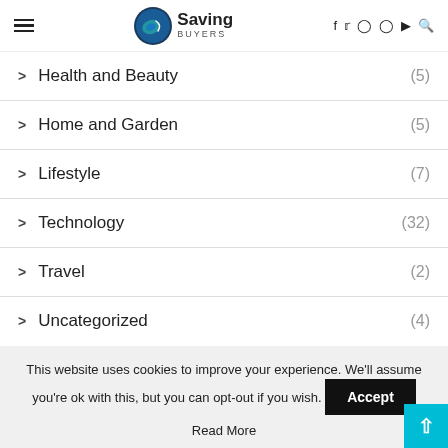Saving Buyers — navigation header with logo and social icons
Health and Beauty (5)
Home and Garden (5)
Lifestyle (7)
Technology (32)
Travel (2)
Uncategorized (4)
This website uses cookies to improve your experience. We'll assume you're ok with this, but you can opt-out if you wish. Accept
Read More